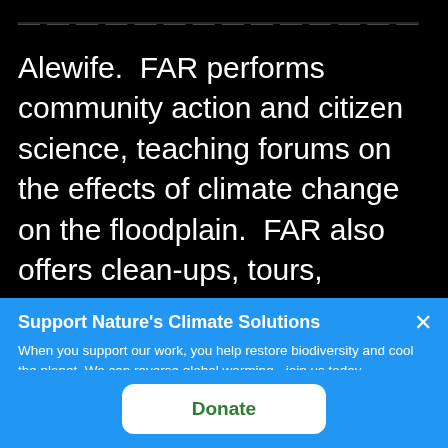— — — — — — — — — and conservation group at Alewife.  FAR performs community action and citizen science, teaching forums on the effects of climate change on the floodplain.  FAR also offers clean-ups, tours, summer Ecology Camps, and advocates on behalf of the Alewife wetlands and the wild space of the
Support Nature's Climate Solutions
When you support our work, you help restore biodiversity and cool the planet. We can reverse global warming - join us today.
Donate